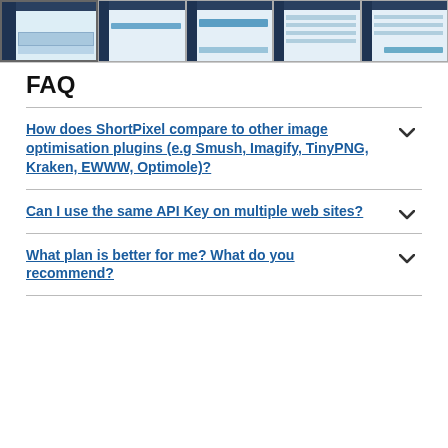[Figure (screenshot): A strip of five UI screenshots showing a web application dashboard interface with dark sidebars and data tables, the first one highlighted/selected.]
FAQ
How does ShortPixel compare to other image optimisation plugins (e.g Smush, Imagify, TinyPNG, Kraken, EWWW, Optimole)?
Can I use the same API Key on multiple web sites?
What plan is better for me? What do you recommend?